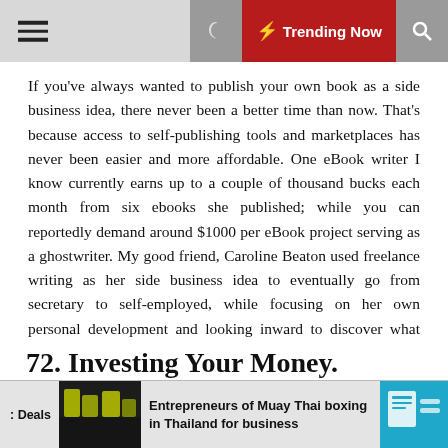Trending Now
If you've always wanted to publish your own book as a side business idea, there never been a better time than now. That's because access to self-publishing tools and marketplaces has never been easier and more affordable. One eBook writer I know currently earns up to a couple of thousand bucks each month from six ebooks she published; while you can reportedly demand around $1000 per eBook project serving as a ghostwriter. My good friend, Caroline Beaton used freelance writing as her side business idea to eventually go from secretary to self-employed, while focusing on her own personal development and looking inward to discover what she's truly passionate about.
72. Investing Your Money.
Entrepreneurs of Muay Thai boxing in Thailand for business